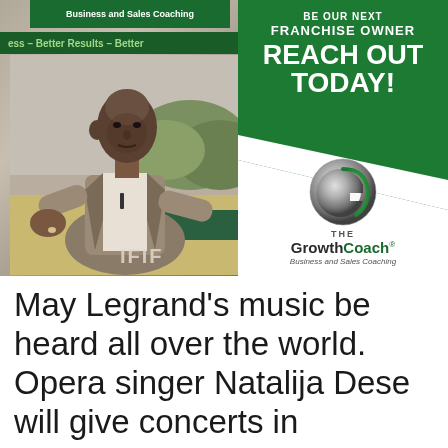[Figure (photo): Advertisement for The Growth Coach franchise. Left side: photo of Black man in a suit speaking/gesturing, with a green banner reading 'Business and Sales Coaching' and a scrolling text band 'ess – Better Results – Better'. Right side: green polygon with white text 'BE OUR NEXT FRANCHISE OWNER REACH OUT TODAY!' and The Growth Coach logo (metallic G with company name and tagline 'Business and Sales Coaching'). Bottom text 'IFIF' partially visible.]
May Legrand's music be heard all over the world. Opera singer Natalija Dese will give concerts in